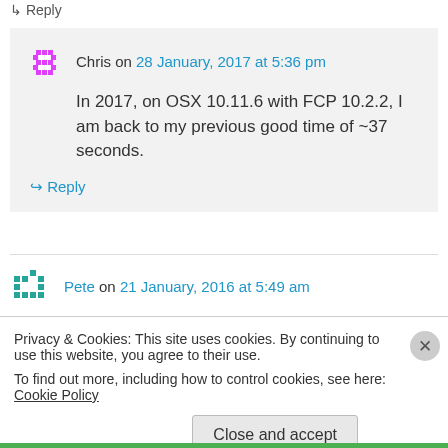↳ Reply
Chris on 28 January, 2017 at 5:36 pm
In 2017, on OSX 10.11.6 with FCP 10.2.2, I am back to my previous good time of ~37 seconds.
↳ Reply
Pete on 21 January, 2016 at 5:49 am
Privacy & Cookies: This site uses cookies. By continuing to use this website, you agree to their use.
To find out more, including how to control cookies, see here: Cookie Policy